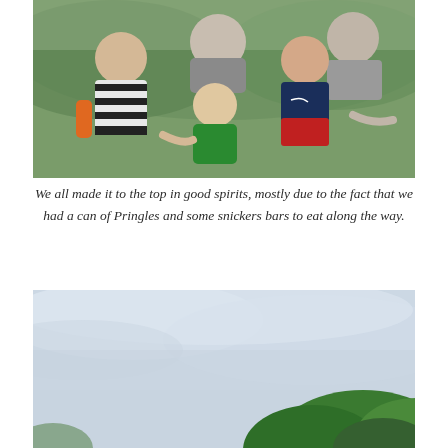[Figure (photo): Family group photo at a hilltop or mountain summit, green forested hills in background. Five people: adult man in grey t-shirt, boy in black and white striped shirt, young toddler in green jacket, girl in navy Nike top with red shorts, and another adult partially visible.]
We all made it to the top in good spirits, mostly due to the fact that we had a can of Pringles and some snickers bars to eat along the way.
[Figure (photo): Landscape photo showing a cloudy pale blue-grey sky with green forested hilltops visible at the bottom right corner.]